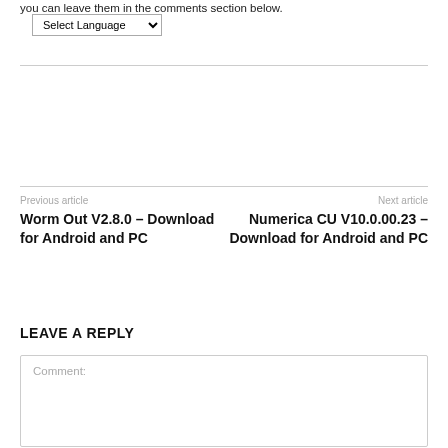you can leave them in the comments section below.
[Figure (other): Select Language dropdown widget]
Previous article
Worm Out V2.8.0 – Download for Android and PC
Next article
Numerica CU V10.0.00.23 – Download for Android and PC
LEAVE A REPLY
Comment: